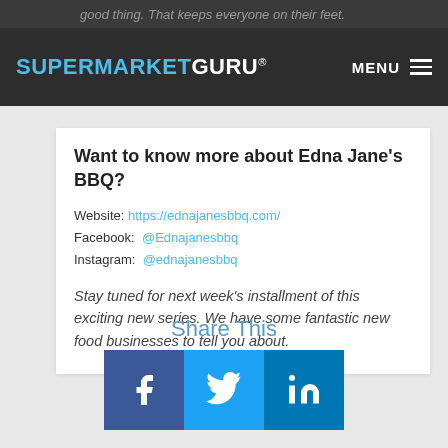good thing. That keeps everyone on their feet.
SUPERMARKETGURU® MENU
Want to know more about Edna Jane's BBQ?
Website: https://ednajanesbbq.com/
Facebook: @Ednajanesbbq
Instagram: @ednajanesbbq
Stay tuned for next week's installment of this exciting new series. We have some fantastic new food businesses to tell you about.
Share This
[Figure (infographic): Three social media share buttons: Facebook (dark blue with f icon), Twitter (light blue with bird icon), LinkedIn (blue with in icon)]